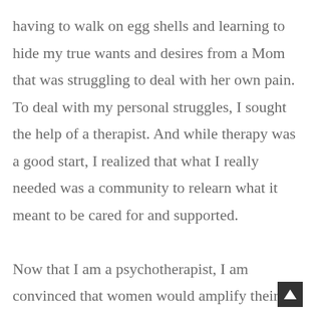having to walk on egg shells and learning to hide my true wants and desires from a Mom that was struggling to deal with her own pain. To deal with my personal struggles, I sought the help of a therapist. And while therapy was a good start, I realized that what I really needed was a community to relearn what it meant to be cared for and supported.

Now that I am a psychotherapist, I am convinced that women would amplify their growth in a tribe of powerful women who refuse to pass on the